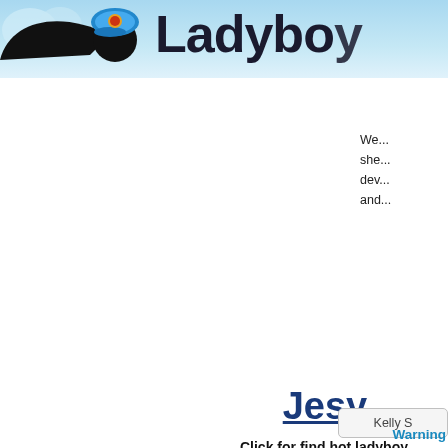[Figure (screenshot): Website header banner with sky blue cloud background, cartoon character wearing blue cap on the left, and large bold dark text 'Ladyboy' (partially visible) to the right]
We...
she...
dev...
and...
Jesy
Click for find hot ladyboy model Jesy on the Ladyboy Wings
Kelly S
War...
Warning